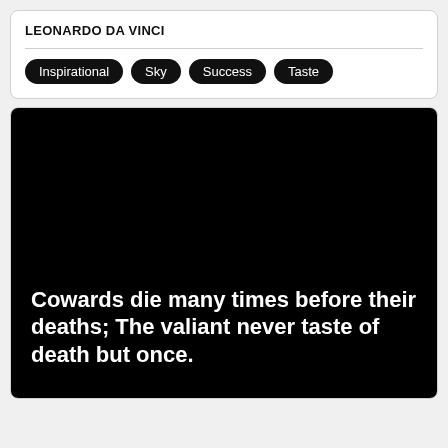LEONARDO DA VINCI
Inspirational
Sky
Success
Taste
[Figure (photo): Black background image with white bold quote text: Cowards die many times before their deaths; The valiant never taste of death but once.]